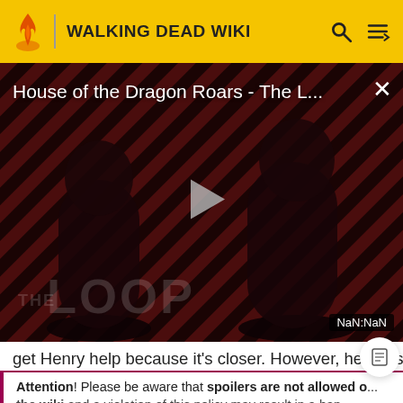WALKING DEAD WIKI
[Figure (screenshot): Video thumbnail for 'House of the Dragon Roars - The L...' with diagonal red/dark stripes background, two dark figures, a play button in center, 'THE LOOP' text overlay, and NaN:NaN time badge]
get Henry help because it's closer. However, he doesn't
Attention! Please be aware that spoilers are not allowed on the wiki and a violation of this policy may result in a ban.
READ MORE